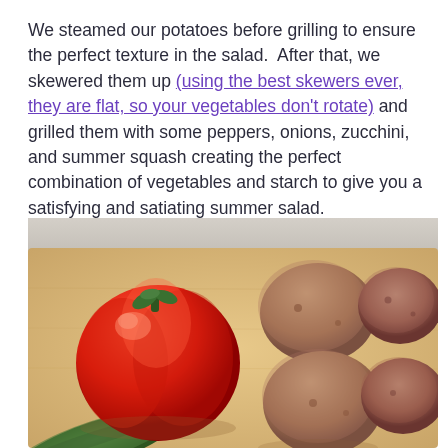We steamed our potatoes before grilling to ensure the perfect texture in the salad.  After that, we skewered them up (using the best skewers ever, they are flat, so your vegetables don't rotate) and grilled them with some peppers, onions, zucchini, and summer squash creating the perfect combination of vegetables and starch to give you a satisfying and satiating summer salad.
[Figure (photo): A red bell pepper, several red/brown potatoes, and a zucchini arranged on a light wooden cutting board, photographed from above.]